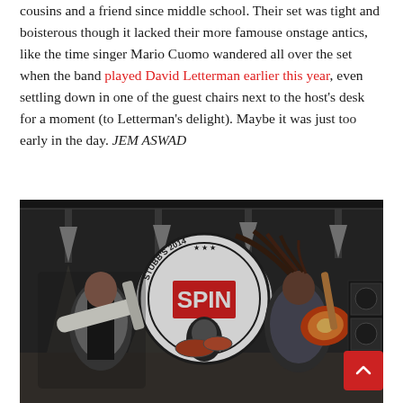cousins and a friend since middle school. Their set was tight and boisterous though it lacked their more famouse onstage antics, like the time singer Mario Cuomo wandered all over the set when the band played David Letterman earlier this year, even settling down in one of the guest chairs next to the host's desk for a moment (to Letterman's delight). Maybe it was just too early in the day. JEM ASWAD
[Figure (photo): A band performing on stage at Stubb's 2014, with a SPIN branded backdrop. Two guitarists and a drummer visible. Left guitarist wearing a vest, right guitarist with dreadlocks flying, drummer in background.]